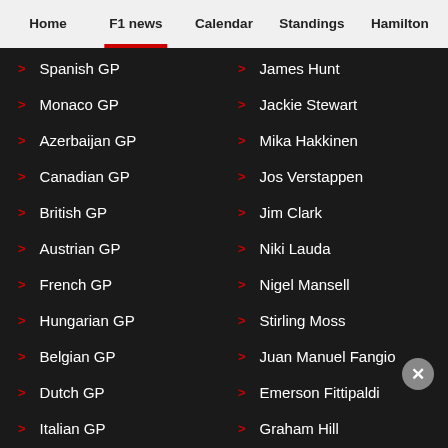Home | F1 news | Calendar | Standings | Hamilton
Spanish GP
Monaco GP
Azerbaijan GP
Canadian GP
British GP
Austrian GP
French GP
Hungarian GP
Belgian GP
Dutch GP
Italian GP
Singapore GP
James Hunt
Jackie Stewart
Mika Hakkinen
Jos Verstappen
Jim Clark
Niki Lauda
Nigel Mansell
Stirling Moss
Juan Manuel Fangio
Emerson Fittipaldi
Graham Hill
Nelson Piquet